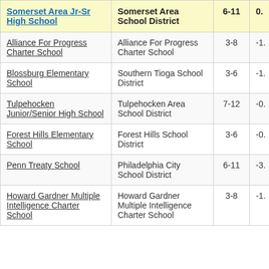| School Name | District | Grades | Value |
| --- | --- | --- | --- |
| Somerset Area Jr-Sr High School | Somerset Area School District | 6-11 | 0. |
| Alliance For Progress Charter School | Alliance For Progress Charter School | 3-8 | -1. |
| Blossburg Elementary School | Southern Tioga School District | 3-6 | -1. |
| Tulpehocken Junior/Senior High School | Tulpehocken Area School District | 7-12 | -0. |
| Forest Hills Elementary School | Forest Hills School District | 3-6 | -0. |
| Penn Treaty School | Philadelphia City School District | 6-11 | -3. |
| Howard Gardner Multiple Intelligence Charter School | Howard Gardner Multiple Intelligence Charter School | 3-8 | -1. |